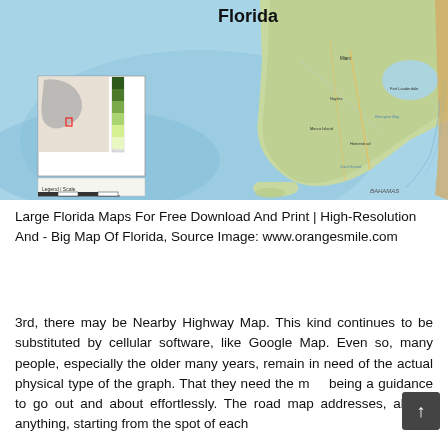[Figure (map): Large map of Florida showing the southern portion of the state with ocean/sea surroundings in light blue, land in green/tan, city labels, roads, and an inset map showing Florida's location in North America along with a legend and scale bar. Title 'Florida' visible at top center.]
Large Florida Maps For Free Download And Print | High-Resolution And - Big Map Of Florida, Source Image: www.orangesmile.com
3rd, there may be Nearby Highway Map. This kind continues to be substituted by cellular software, like Google Map. Even so, many people, especially the older many years, remain in need of the actual physical type of the graph. That they need the map being a guidance to go out and about effortlessly. The road map addresses, almost anything, starting from the spot of each